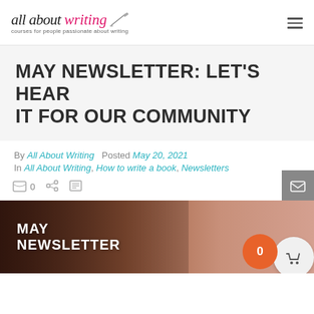all about writing — courses for people passionate about writing
MAY NEWSLETTER: LET'S HEAR IT FOR OUR COMMUNITY
By All About Writing   Posted May 20, 2021   In All About Writing, How to write a book, Newsletters
[Figure (photo): MAY NEWSLETTER banner with a smiling woman in background, warm reddish-brown tones]